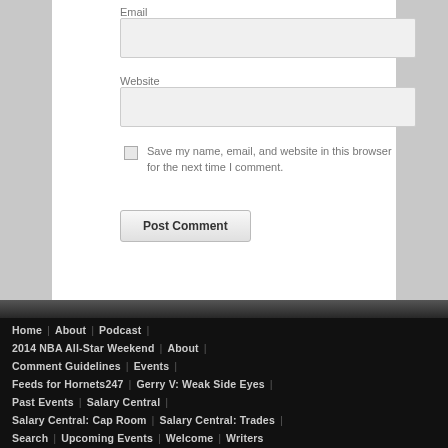Email
Website
Save my name, email, and website in this browser for the next time I comment.
Post Comment
Home | About | Podcast | 2014 NBA All-Star Weekend | About | Comment Guidelines | Events | Feeds for Hornets247 | Gerry V: Weak Side Eyes | Past Events | Salary Central | Salary Central: Cap Room | Salary Central: Trades | Search | Upcoming Events | Welcome | Writers